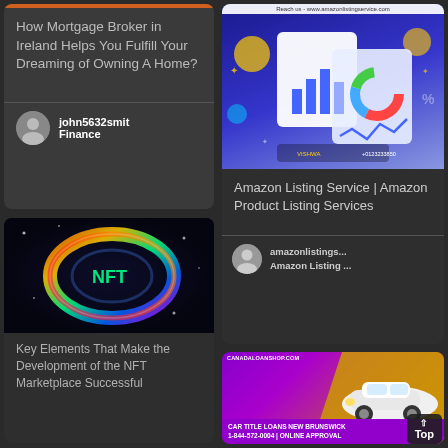[Figure (illustration): Card with orange top bar and title text about mortgage broker in Ireland]
How Mortgage Broker in Ireland Helps You Fulfill Your Dreaming of Owning A Home?
john5632smit Finance
[Figure (photo): NFT neon ring glowing colorful digital art image]
Key Elements That Make the Development of the NFT Marketplace Successful
[Figure (illustration): Amazon listing service promotional illustration with charts and graphs on blue background, header: Reach us - www.amazonlistingservice.com]
Amazon Listing Service | Amazon Product Listing Services
amazonlistings... Amazon Listing ...
[Figure (illustration): Car title loans New Brunswick advertisement with purple and yellow background and white luxury car image]
CAR TITLE LOANS NEW BRUNSWICK 1-844-572-0004 | ONLINE APPROVAL